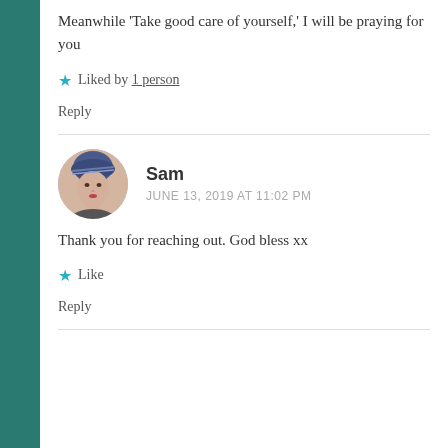Meanwhile 'Take good care of yourself,' I will be praying for you
★ Liked by 1 person
Reply
[Figure (photo): Circular avatar photo of Sam, a woman wearing a blue patterned headband]
Sam
JUNE 13, 2019 AT 11:02 PM
Thank you for reaching out. God bless xx
★ Like
Reply